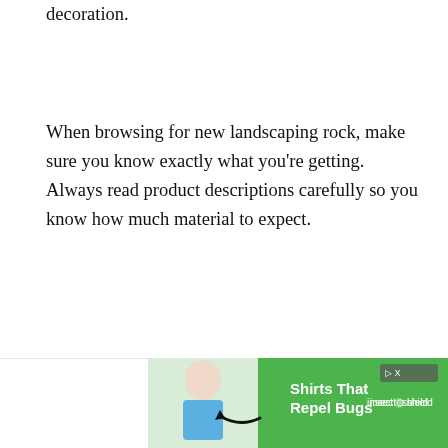small volumes designed for indoor potting and decoration.
When browsing for new landscaping rock, make sure you know exactly what you're getting. Always read product descriptions carefully so you know how much material to expect.
[Figure (photo): Advertisement banner at the bottom of the page featuring a woman in a blue shirt and a green background with text 'Shirts That Repel Bugs' and 'insect o shield' branding with a skip button.]